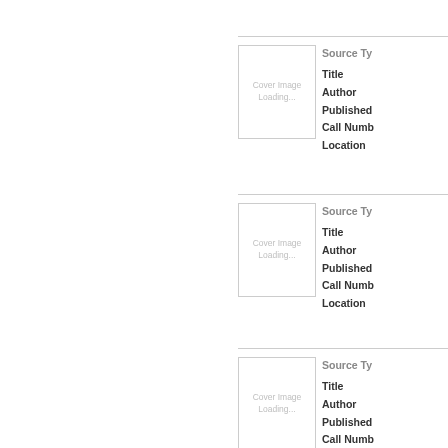[Figure (other): Library catalog result card 1 with cover image placeholder showing 'Cover Image Loading...' and metadata fields: Source Type, Title, Author, Published, Call Number, Location]
[Figure (other): Library catalog result card 2 with cover image placeholder showing 'Cover Image Loading...' and metadata fields: Source Type, Title, Author, Published, Call Number, Location]
[Figure (other): Library catalog result card 3 with cover image placeholder showing 'Cover Image Loading...' and metadata fields: Source Type, Title, Author, Published, Call Number, Location]